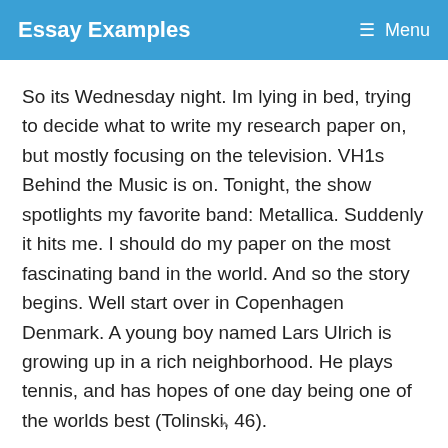Essay Examples  ☰ Menu
So its Wednesday night. Im lying in bed, trying to decide what to write my research paper on, but mostly focusing on the television. VH1s Behind the Music is on. Tonight, the show spotlights my favorite band: Metallica. Suddenly it hits me. I should do my paper on the most fascinating band in the world. And so the story begins. Well start over in Copenhagen Denmark. A young boy named Lars Ulrich is growing up in a rich neighborhood. He plays tennis, and has hopes of one day being one of the worlds best (Tolinski, 46).